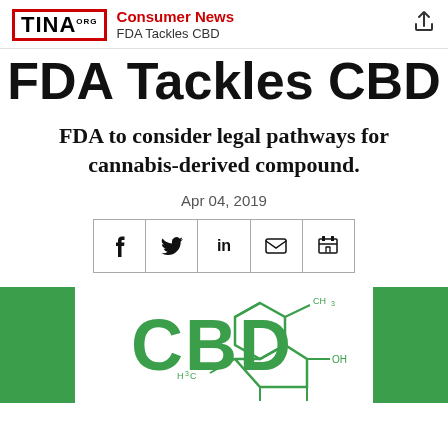Consumer News | FDA Tackles CBD
FDA Tackles CBD
FDA to consider legal pathways for cannabis-derived compound.
Apr 04, 2019
[Figure (infographic): Social share buttons: Facebook, Twitter, LinkedIn, Email, Print]
[Figure (illustration): CBD chemical structure molecule diagram on green and white background with large green CBD text]